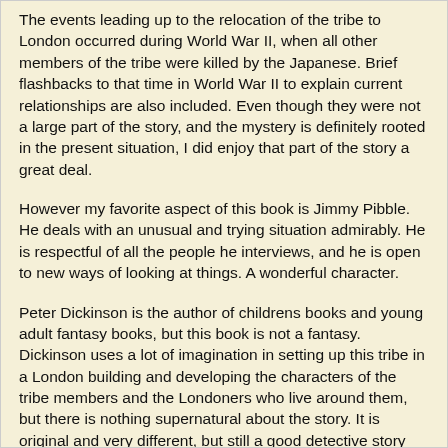The events leading up to the relocation of the tribe to London occurred during World War II, when all other members of the tribe were killed by the Japanese. Brief flashbacks to that time in World War II to explain current relationships are also included. Even though they were not a large part of the story, and the mystery is definitely rooted in the present situation, I did enjoy that part of the story a great deal.
However my favorite aspect of this book is Jimmy Pibble. He deals with an unusual and trying situation admirably. He is respectful of all the people he interviews, and he is open to new ways of looking at things. A wonderful character.
Peter Dickinson is the author of childrens books and young adult fantasy books, but this book is not a fantasy. Dickinson uses a lot of imagination in setting up this tribe in a London building and developing the characters of the tribe members and the Londoners who live around them, but there is nothing supernatural about the story. It is original and very different, but still a good detective story with clues and a solution that makes sense.